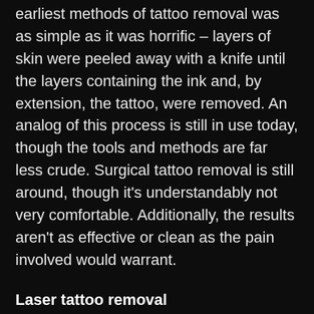earliest methods of tattoo removal was as simple as it was horrific – layers of skin were peeled away with a knife until the layers containing the ink and, by extension, the tattoo, were removed. An analog of this process is still in use today, though the tools and methods are far less crude. Surgical tattoo removal is still around, though it's understandably not very comfortable. Additionally, the results aren't as effective or clean as the pain involved would warrant.
Laser tattoo removal
The fastest growing removal method is laser tattoo removal. Quickly becoming